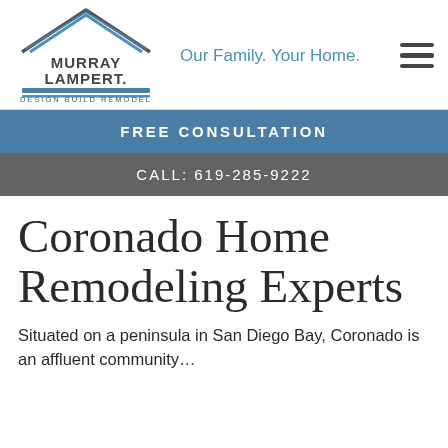[Figure (logo): Murray Lampert Design Build Remodel logo with house/roof icon and blue accent bars]
Our Family. Your Home.
FREE CONSULTATION
CALL: 619-285-9222
Coronado Home Remodeling Experts
Situated on a peninsula in San Diego Bay, Coronado is an affluent community...